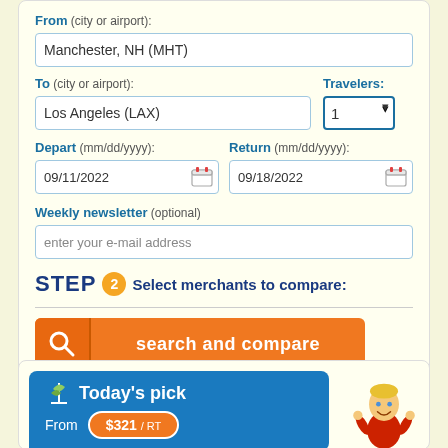From (city or airport):
Manchester, NH (MHT)
To (city or airport):
Los Angeles (LAX)
Travelers:
1
Depart (mm/dd/yyyy):
09/11/2022
Return (mm/dd/yyyy):
09/18/2022
Weekly newsletter (optional)
enter your e-mail address
STEP 2 Select merchants to compare:
[Figure (screenshot): Orange search and compare button with magnifier icon on left]
[Figure (illustration): Today's pick banner in blue with palm tree icon, showing price From $321 / RT, with cartoon mascot boy on right]